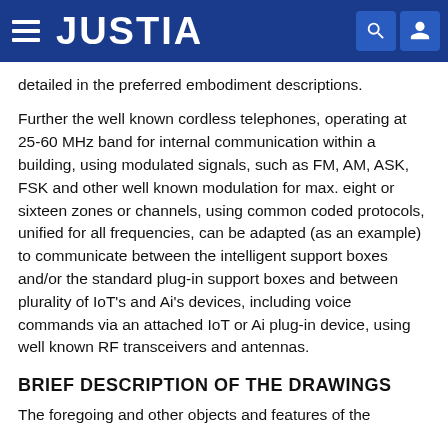JUSTIA
detailed in the preferred embodiment descriptions.
Further the well known cordless telephones, operating at 25-60 MHz band for internal communication within a building, using modulated signals, such as FM, AM, ASK, FSK and other well known modulation for max. eight or sixteen zones or channels, using common coded protocols, unified for all frequencies, can be adapted (as an example) to communicate between the intelligent support boxes and/or the standard plug-in support boxes and between plurality of IoT's and Ai's devices, including voice commands via an attached IoT or Ai plug-in device, using well known RF transceivers and antennas.
BRIEF DESCRIPTION OF THE DRAWINGS
The foregoing and other objects and features of the